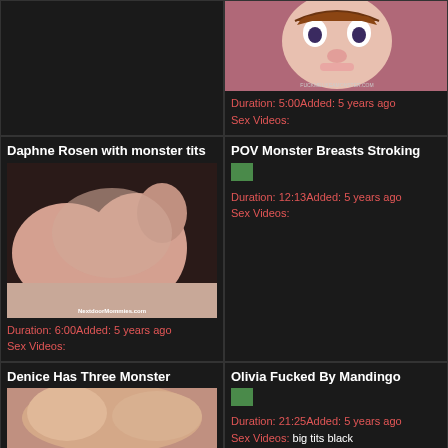[Figure (photo): Dark/empty top-left cell]
[Figure (photo): Anime screenshot thumbnail]
Duration: 5:00Added: 5 years ago
Sex Videos:
Daphne Rosen with monster tits
[Figure (photo): Adult video thumbnail with watermark NextdoorMommies.com]
Duration: 6:00Added: 5 years ago
Sex Videos:
POV Monster Breasts Stroking
[Figure (photo): Small green thumbnail placeholder]
Duration: 12:13Added: 5 years ago
Sex Videos:
Denice Has Three Monster
[Figure (photo): Adult video thumbnail]
Olivia Fucked By Mandingo
[Figure (photo): Small green thumbnail placeholder]
Duration: 21:25Added: 5 years ago
Sex Videos: big tits black